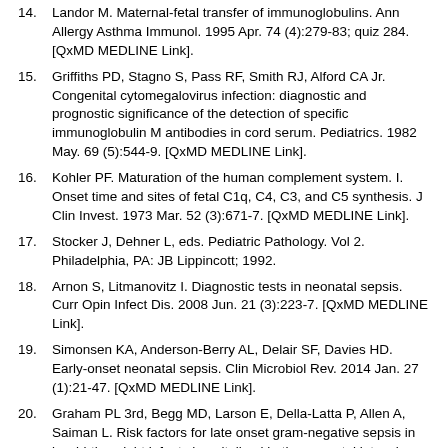14. Landor M. Maternal-fetal transfer of immunoglobulins. Ann Allergy Asthma Immunol. 1995 Apr. 74 (4):279-83; quiz 284. [QxMD MEDLINE Link].
15. Griffiths PD, Stagno S, Pass RF, Smith RJ, Alford CA Jr. Congenital cytomegalovirus infection: diagnostic and prognostic significance of the detection of specific immunoglobulin M antibodies in cord serum. Pediatrics. 1982 May. 69 (5):544-9. [QxMD MEDLINE Link].
16. Kohler PF. Maturation of the human complement system. I. Onset time and sites of fetal C1q, C4, C3, and C5 synthesis. J Clin Invest. 1973 Mar. 52 (3):671-7. [QxMD MEDLINE Link].
17. Stocker J, Dehner L, eds. Pediatric Pathology. Vol 2. Philadelphia, PA: JB Lippincott; 1992.
18. Arnon S, Litmanovitz I. Diagnostic tests in neonatal sepsis. Curr Opin Infect Dis. 2008 Jun. 21 (3):223-7. [QxMD MEDLINE Link].
19. Simonsen KA, Anderson-Berry AL, Delair SF, Davies HD. Early-onset neonatal sepsis. Clin Microbiol Rev. 2014 Jan. 27 (1):21-47. [QxMD MEDLINE Link].
20. Graham PL 3rd, Begg MD, Larson E, Della-Latta P, Allen A, Saiman L. Risk factors for late onset gram-negative sepsis in low birth weight infants hospitalized in the neonatal intensive care unit. Pediatr Infect Dis J. 2006 Feb. 25 (2):113-7. [QxMD MEDLINE Link].
21. Stoll BJ, Hansen NI, Sánchez PJ, et al, for the Eunice Kennedy Shriver National Institute of Child Health and Human Development Neonatal Research Network. Early onset neonatal sepsis: the burden of group B Streptococcal and E. coli disease continues. Pediatrics. 2011 May. 127 (5):817-26. [QxMD MEDLINE Link].
22. American Academy of Pediatrics. Red Book 2003: Report of the Committee